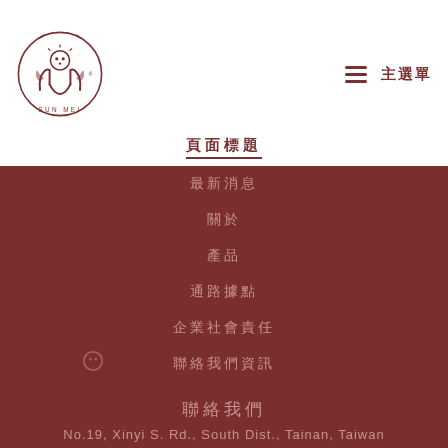[Figure (logo): Sun Mei logo — circular emblem with hands and a button/sun symbol, with 'SUN MEI' text around the circle]
☰ 主選單
頁面標題
最新消息
關於
產品
通路據點
企業社會責任
聯絡我們資訊
聯絡我們
No.19, Xinyi S. Rd., South Dist., Tainan, Taiwan